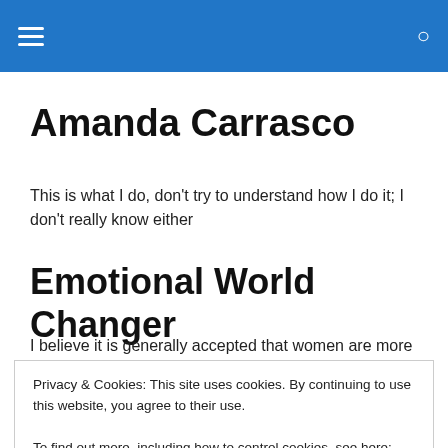Amanda Carrasco — navigation header with menu and search icons
Amanda Carrasco
This is what I do, don't try to understand how I do it; I don't really know either
Emotional World Changer
I believe it is generally accepted that women are more
Privacy & Cookies: This site uses cookies. By continuing to use this website, you agree to their use.
To find out more, including how to control cookies, see here: Cookie Policy
backwards lens in time, vulnerability and emotional being